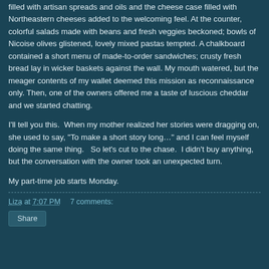filled with artisan spreads and oils and the cheese case filled with Northeastern cheeses added to the welcoming feel. At the counter, colorful salads made with beans and fresh veggies beckoned; bowls of Nicoise olives glistened, lovely mixed pastas tempted. A chalkboard contained a short menu of made-to-order sandwiches; crusty fresh bread lay in wicker baskets against the wall. My mouth watered, but the meager contents of my wallet deemed this mission as reconnaissance only. Then, one of the owners offered me a taste of luscious cheddar and we started chatting.
I'll tell you this.  When my mother realized her stories were dragging on, she used to say, "To make a short story long…" and I can feel myself doing the same thing.   So let's cut to the chase.  I didn't buy anything, but the conversation with the owner took an unexpected turn.
My part-time job starts Monday.
Liza at 7:07 PM    7 comments: